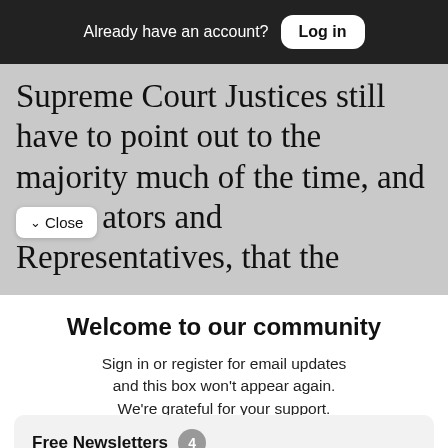Already have an account? Log in
Supreme Court Justices still have to point out to the majority much of the time, and to our ators and Representatives, that the
Close
Welcome to our community
Sign in or register for email updates and this box won't appear again. We're grateful for your support.
By registering you confirm you are 21+.
Free Newsletters 4
Good Times Newsletter (weekly)
News stories, arts and dining